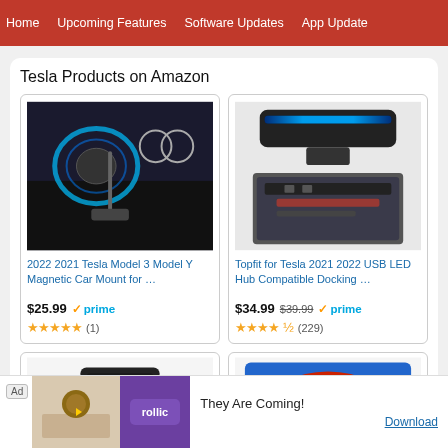Home | Upcoming Features | Software Updates | App Update
Tesla Products on Amazon
[Figure (photo): 2022 2021 Tesla Model 3 Model Y Magnetic Car Mount product image showing magnetic wireless charger on car dashboard]
2022 2021 Tesla Model 3 Model Y Magnetic Car Mount for …
$25.99 ✓prime ★★★★★ (1)
[Figure (photo): Topfit for Tesla 2021 2022 USB LED Hub Compatible Docking product image showing LED hub and center console]
Topfit for Tesla 2021 2022 USB LED Hub Compatible Docking …
$34.99 $39.99 ✓prime ★★★★☆ (229)
[Figure (photo): Partial view of a black tray/organizer product for Tesla]
[Figure (photo): Partial view of a Hot Wheels toy car product]
Ad | They Are Coming! | Download